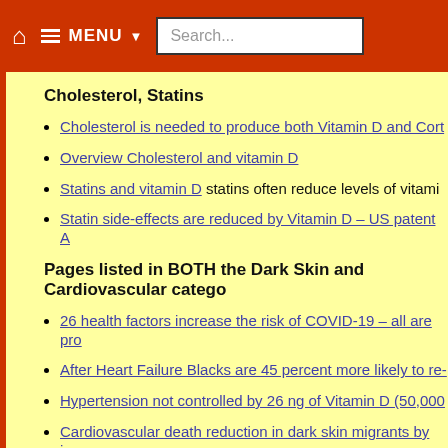MENU Search...
Cholesterol, Statins
Cholesterol is needed to produce both Vitamin D and Cort
Overview Cholesterol and vitamin D
Statins and vitamin D statins often reduce levels of vitami
Statin side-effects are reduced by Vitamin D – US patent A
Pages listed in BOTH the Dark Skin and Cardiovascular catego
26 health factors increase the risk of COVID-19 – all are pro
After Heart Failure Blacks are 45 percent more likely to re-
Hypertension not controlled by 26 ng of Vitamin D (50,000
Cardiovascular death reduction in dark skin migrants by jus
Types of vitamin D, African American teenage girls, and me
Low vitamin D is a risk factor for vascular disease in Afric